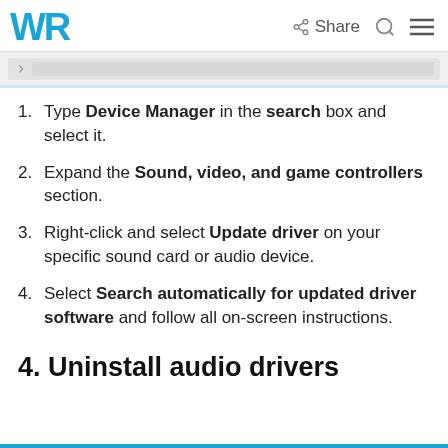WR  Share  [search] [menu]
[Figure (screenshot): Partial screenshot of a UI element (browser address bar or search field)]
Type Device Manager in the search box and select it.
Expand the Sound, video, and game controllers section.
Right-click and select Update driver on your specific sound card or audio device.
Select Search automatically for updated driver software and follow all on-screen instructions.
4. Uninstall audio drivers